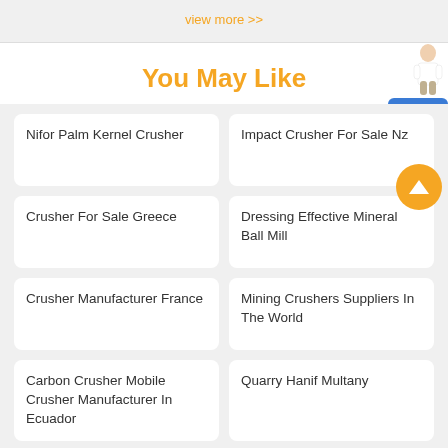view more >>
You May Like
Nifor Palm Kernel Crusher
Impact Crusher For Sale Nz
Crusher For Sale Greece
Dressing Effective Mineral Ball Mill
Crusher Manufacturer France
Mining Crushers Suppliers In The World
Carbon Crusher Mobile Crusher Manufacturer In Ecuador
Quarry Hanif Multany